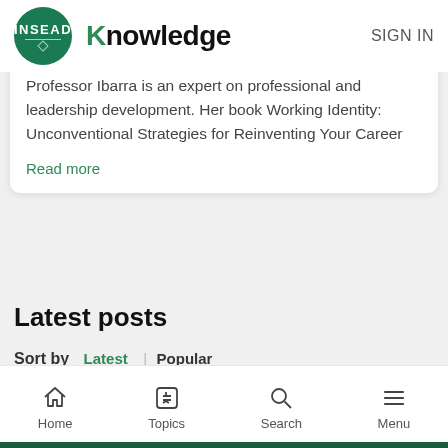INSEAD Knowledge | SIGN IN
Professor Ibarra is an expert on professional and leadership development. Her book Working Identity: Unconventional Strategies for Reinventing Your Career
Read more
Latest posts
Sort by Latest | Popular
Home | Topics | Search | Menu